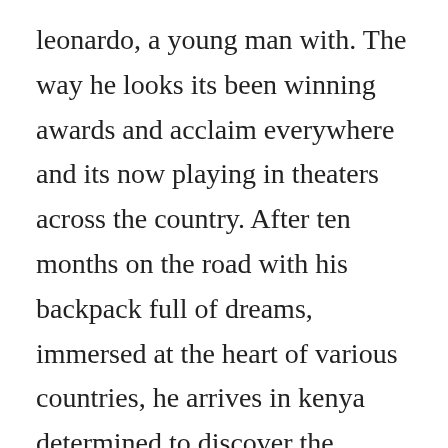leonardo, a young man with. The way he looks its been winning awards and acclaim everywhere and its now playing in theaters across the country. After ten months on the road with his backpack full of dreams, immersed at the heart of various countries, he arrives in kenya determined to discover the african continent. A love triangle with a difference emerges in daniel ribeiros beautifully realised romance.
We also share information about your use of our site with our social media, advertising and